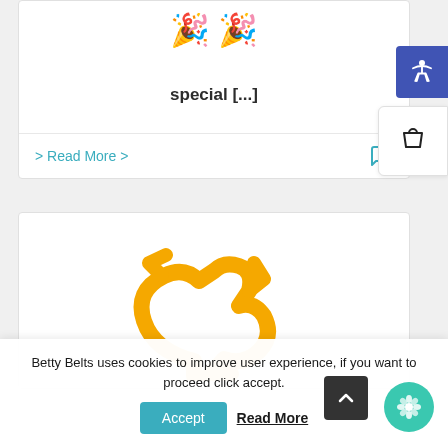[Figure (illustration): Party hat / celebration emojis at top of card]
special [...]
> Read More >
[Figure (logo): Yellow stylized running person / Betty Belts logo icon]
Betty Belts uses cookies to improve user experience, if you want to proceed click accept.
Accept
Read More